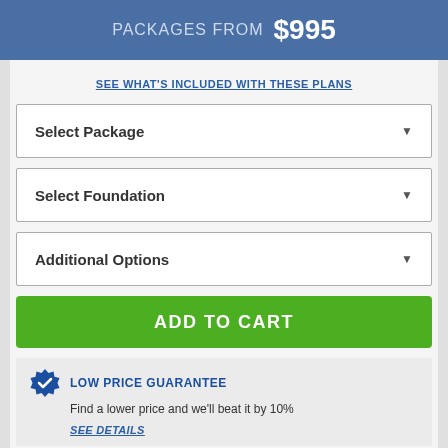PACKAGES FROM $995
SEE WHAT'S INCLUDED WITH THESE PLANS
Select Package
Select Foundation
Additional Options
ADD TO CART
LOW PRICE GUARANTEE
Find a lower price and we'll beat it by 10%
SEE DETAILS